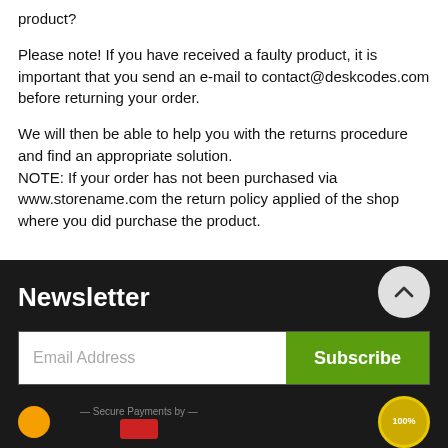product?
Please note! If you have received a faulty product, it is important that you send an e-mail to contact@deskcodes.com before returning your order.
We will then be able to help you with the returns procedure and find an appropriate solution.
NOTE: If your order has not been purchased via www.storename.com the return policy applied of the shop where you did purchase the product.
Newsletter
Email Address
Subscribe